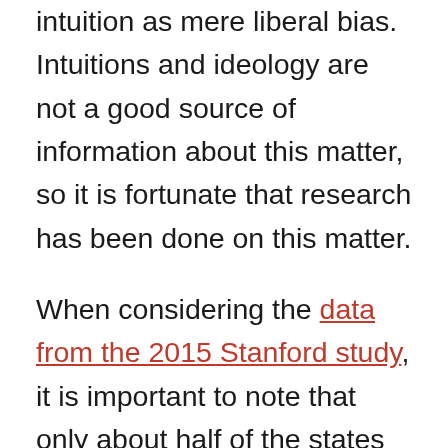intuition as mere liberal bias. Intuitions and ideology are not a good source of information about this matter, so it is fortunate that research has been done on this matter.
When considering the data from the 2015 Stanford study, it is important to note that only about half of the states responded to the request for data and many of the states that did respond, did not track race. Despite these problems, the study does provide useful data—if its limits are kept in mind. While doubt about the accuracy of the study can be reasonable, to take its limits as evidence for denying its findings would be an